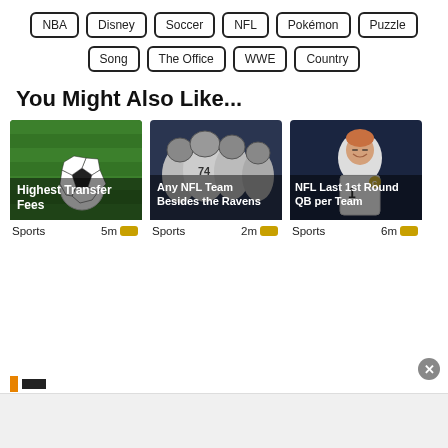NBA
Disney
Soccer
NFL
Pokémon
Puzzle
Song
The Office
WWE
Country
You Might Also Like...
[Figure (photo): Soccer ball on green grass field]
Highest Transfer Fees
Sports  5m
[Figure (photo): NFL players in Ravens uniforms grouped together]
Any NFL Team Besides the Ravens
Sports  2m
[Figure (photo): NFL quarterback smiling in white jersey]
NFL Last 1st Round QB per Team
Sports  6m